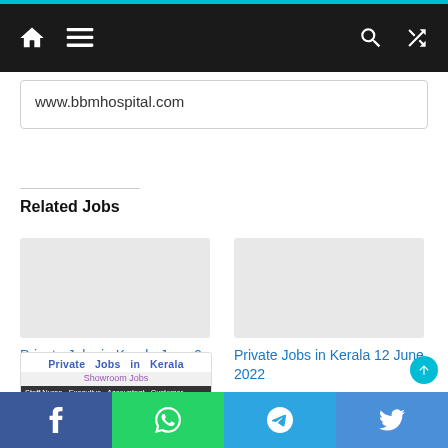Navigation bar with home, menu, search, and shuffle icons
www.bbmhospital.com
Related Jobs
Private Jobs in Kerala June 9
Private Jobs in Kerala 12 June 2022
[Figure (screenshot): Private Jobs in Kerala Showroom Jobs card image showing Staff Nurse, Executive, Accountant, Customer text]
Facebook, WhatsApp, Telegram, Twitter share buttons